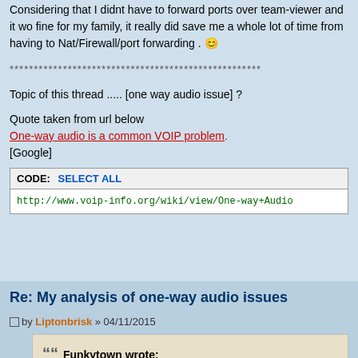Considering that I didnt have to forward ports over team-viewer and it worked fine for my family, it really did save me a whole lot of time from having to do Nat/Firewall/port forwarding . 🙂
****************************************************
Topic of this thread ..... [one way audio issue] ?
Quote taken from url below
One-way audio is a common VOIP problem.
[Google]
CODE: SELECT ALL
http://www.voip-info.org/wiki/view/One-way+Audio
Re: My analysis of one-way audio issues
by Liptonbrisk » 04/11/2015
““ Funkytown wrote:
, it was fixed quickly as it was NOT FPL issue but my end with my firewall/NAT blocking the ports.